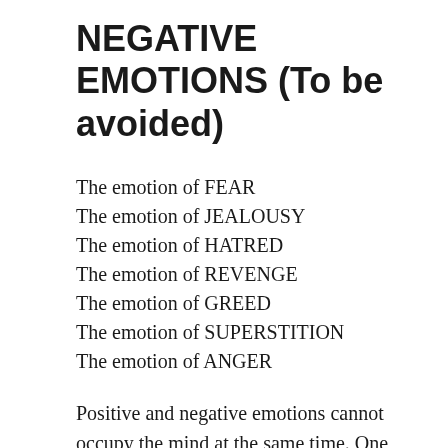NEGATIVE EMOTIONS (To be avoided)
The emotion of FEAR
The emotion of JEALOUSY
The emotion of HATRED
The emotion of REVENGE
The emotion of GREED
The emotion of SUPERSTITION
The emotion of ANGER
Positive and negative emotions cannot occupy the mind at the same time. One or the other must dominate. It is your responsibility to make sure that positive emotions constitute the dominating